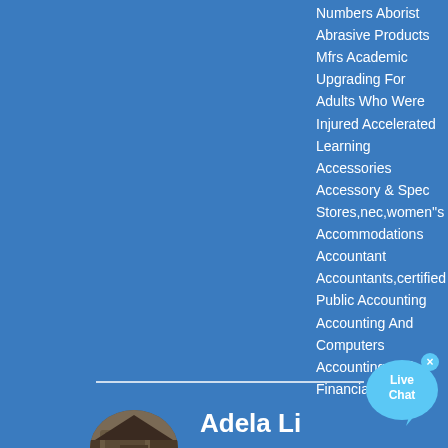Numbers Aborist Abrasive Products Mfrs Academic Upgrading For Adults Who Were Injured Accelerated Learning Accessories Accessory & Spec Stores,nec,women''s Accommodations Accountant Accountants,certified Public Accounting Accounting And Computers Accounting And Financial ....
[Figure (illustration): Live Chat bubble icon with close button]
[Figure (photo): Oval profile photo of Adela Li showing industrial/construction background]
Adela Li
Send a message to us
sales. Shanghai Oriental Heavy Industry machinery Co,.Ltd. 2012 3 - 9 5 . shanghai,china. Shanghai Oriental Heavy Industry machinery Co,.Ltd is a high-tech enterprise, which is specializing in the research, development, and manufacture of industrial stone crushing & screening